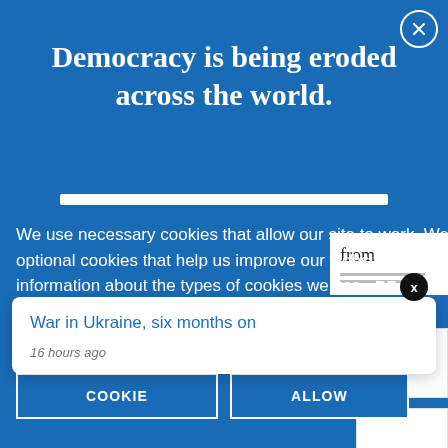Democracy is being eroded across the world.
We use necessary cookies that allow our site to work. We also set optional cookies that help us improve our website. For more information about the types of cookies we use. READ OUR COOKIES POLICY HERE
COOKIE
ALLOW
War in Ukraine, six months on
16 hours ago
The cha...nce of an int...ibution of
SUBSCRIBE